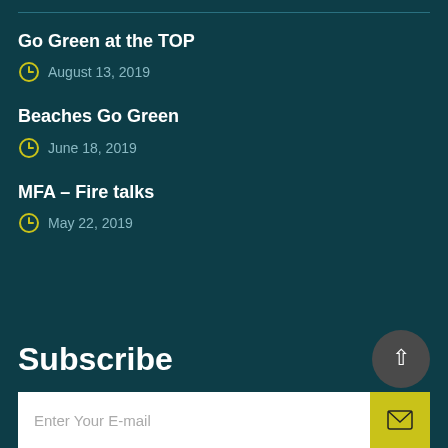Go Green at the TOP
August 13, 2019
Beaches Go Green
June 18, 2019
MFA – Fire talks
May 22, 2019
Subscribe
Enter Your E-mail